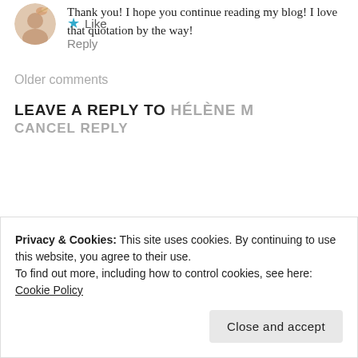[Figure (photo): Small circular avatar image of a person]
Thank you! I hope you continue reading my blog! I love that quotation by the way!
★ Like
Reply
Older comments
LEAVE A REPLY TO HÉLÈNE M CANCEL REPLY
Privacy & Cookies: This site uses cookies. By continuing to use this website, you agree to their use.
To find out more, including how to control cookies, see here: Cookie Policy
Close and accept